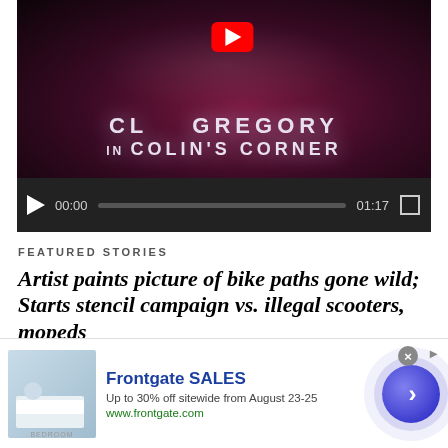[Figure (screenshot): YouTube video player showing 'Colin's Corner' with play button, progress bar showing 00:00 / 01:17, and fullscreen button]
FEATURED STORIES
Artist paints picture of bike paths gone wild; Starts stencil campaign vs. illegal scooters, mopeds
BY LINCOLN ANDERSON | You might see him out on the bike paths — but he doesn't want you to know who he is. All...
[Figure (screenshot): Frontgate SALES advertisement: Up to 30% off sitewide from August 23-25, www.frontgate.com, with bedroom image and navigation arrow]